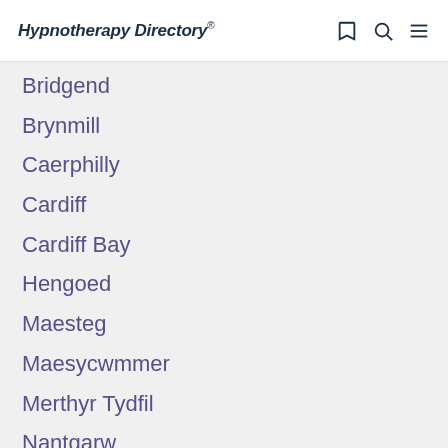Hypnotherapy Directory
Bridgend
Brynmill
Caerphilly
Cardiff
Cardiff Bay
Hengoed
Maesteg
Maesycwmmer
Merthyr Tydfil
Nantgarw
Pontardawe
Porthcawl
Roath
Rumney
Sketty
St Mellons